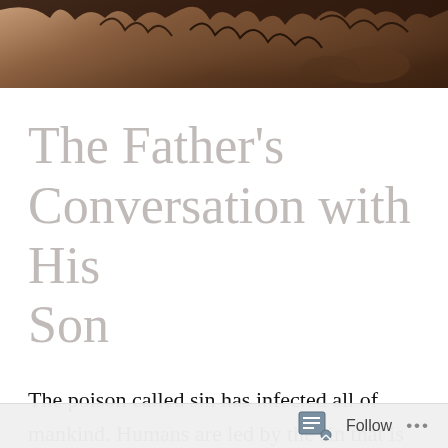[Figure (photo): Sepia-toned header image showing a crown of thorns against a dark brown background]
The Father’s Conversation with His Son
The poison called sin has infected all of mankind. Humans are led by the sin that is within, to follow after what this poison has desire for which is death; both physically and
Follow ...